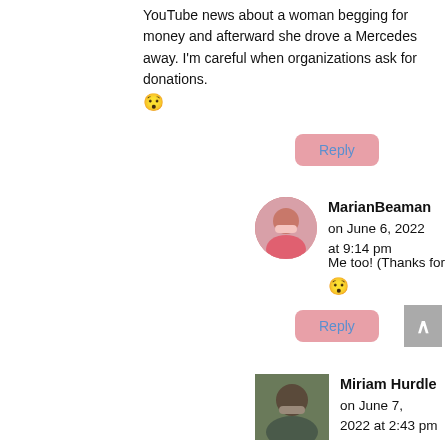YouTube news about a woman begging for money and afterward she drove a Mercedes away. I'm careful when organizations ask for donations. 😬
Reply
MarianBeaman on June 6, 2022 at 9:14 pm
Me too! (Thanks for the follow-up.) 😬
Reply
[Figure (photo): Avatar photo of MarianBeaman, woman in pink top]
Miriam Hurdle on June 7, 2022 at 2:43 pm
[Figure (photo): Avatar photo of Miriam Hurdle, woman outdoors]